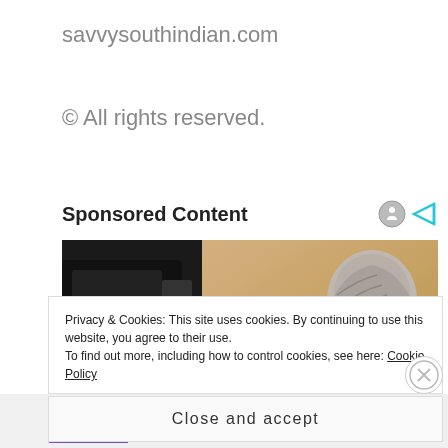savvysouthindian.com
© All rights reserved.
Sponsored Content
[Figure (photo): Partial view of a person with gray/white hair bending over something, with dark objects (possibly bags) on the left side of the frame. Warm beige/tan background.]
Privacy & Cookies: This site uses cookies. By continuing to use this website, you agree to their use.
To find out more, including how to control cookies, see here: Cookie Policy
Close and accept